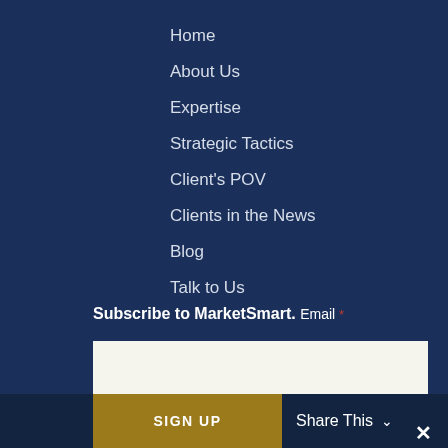Home
About Us
Expertise
Strategic Tactics
Client's POV
Clients in the News
Blog
Talk to Us
Subscribe to MarketSmart.
Email *
SIGN UP
Share This